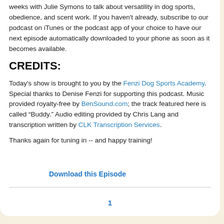weeks with Julie Symons to talk about versatility in dog sports, obedience, and scent work. If you haven't already, subscribe to our podcast on iTunes or the podcast app of your choice to have our next episode automatically downloaded to your phone as soon as it becomes available.
CREDITS:
Today's show is brought to you by the Fenzi Dog Sports Academy. Special thanks to Denise Fenzi for supporting this podcast. Music provided royalty-free by BenSound.com; the track featured here is called “Buddy.” Audio editing provided by Chris Lang and transcription written by CLK Transcription Services.
Thanks again for tuning in -- and happy training!
Download this Episode
1